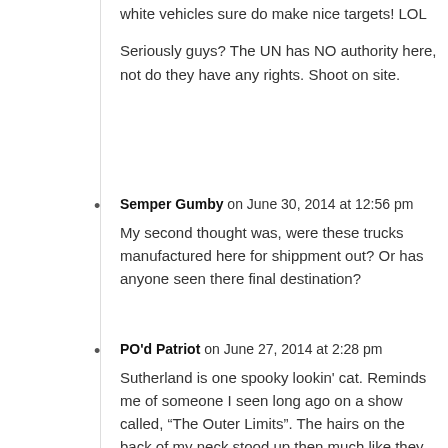white vehicles sure do make nice targets! LOL

Seriously guys? The UN has NO authority here, not do they have any rights. Shoot on site.
Semper Gumby on June 30, 2014 at 12:56 pm
My second thought was, were these trucks manufactured here for shippment out? Or has anyone seen there final destination?
PO'd Patriot on June 27, 2014 at 2:28 pm
Sutherland is one spooky lookin' cat. Reminds me of someone I seen long ago on a show called, “The Outer Limits”. The hairs on the back of my neck stood up then much like they are now.